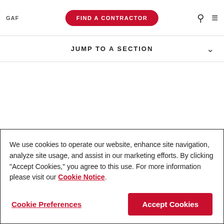GAF
FIND A CONTRACTOR
JUMP TO A SECTION
Progress means taking action for a better world.
We use cookies to operate our website, enhance site navigation, analyze site usage, and assist in our marketing efforts. By clicking "Accept Cookies," you agree to this use. For more information please visit our Cookie Notice.
Cookie Preferences
Accept Cookies